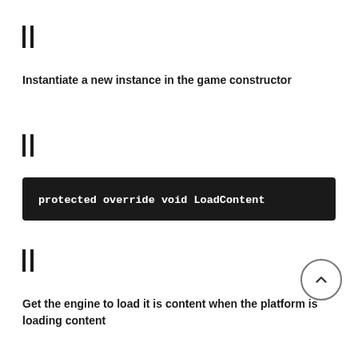||
Instantiate a new instance in the game constructor
||
||
Get the engine to load it is content when the platform is loading content